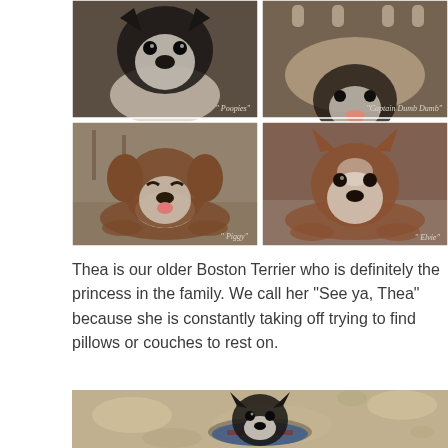[Figure (photo): Four photos of Boston Terriers in a 2x2 grid. Top-left photo labeled 'Poopies' shows a black and white Boston Terrier shot from above. Top-right labeled 'Captain Dumb Dumb' shows a dog appearing upside down. Bottom-left labeled 'Piggy' shows a brown and white Boston Terrier lying down with tongue out. Bottom-right labeled 'Elvie' shows a brown and white Boston Terrier in a sphinx pose.]
Thea is our older Boston Terrier who is definitely the princess in the family. We call her “See ya, Thea” because she is constantly taking off trying to find pillows or couches to rest on.
[Figure (photo): A Boston Terrier wearing a blue outfit lies on pavement/concrete outdoors, photographed from above at an angle. The dog is black and white and appears to be resting.]